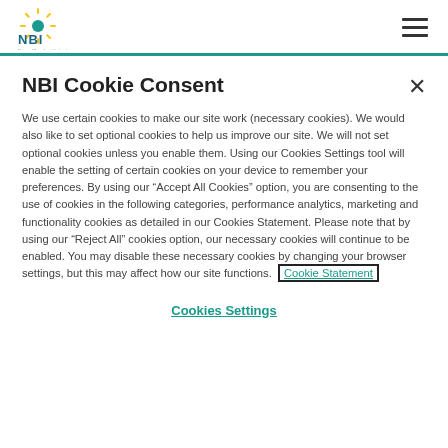[Figure (logo): NBI (National Broadband Ireland) logo with sunburst icon top-left, and hamburger menu icon top-right]
NBI Cookie Consent
We use certain cookies to make our site work (necessary cookies). We would also like to set optional cookies to help us improve our site. We will not set optional cookies unless you enable them. Using our Cookies Settings tool will enable the setting of certain cookies on your device to remember your preferences. By using our “Accept All Cookies” option, you are consenting to the use of cookies in the following categories, performance analytics, marketing and functionality cookies as detailed in our Cookies Statement. Please note that by using our “Reject All” cookies option, our necessary cookies will continue to be enabled. You may disable these necessary cookies by changing your browser settings, but this may affect how our site functions.  Cookie Statement
Cookies Settings